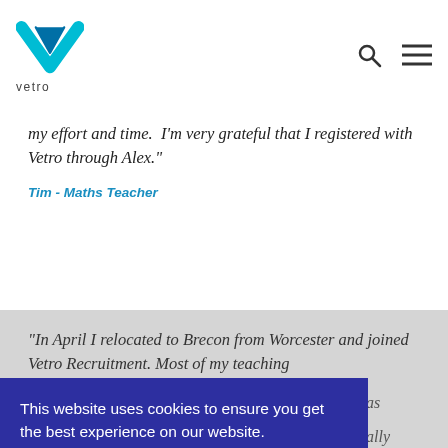vetro
my effort and time.  I'm very grateful that I registered with Vetro through Alex."
Tim - Maths Teacher
"In April I relocated to Brecon from Worcester and joined Vetro Recruitment. Most of my teaching
This website uses cookies to ensure you get the best experience on our website. Learn more
Got it!
real interest in how my day has actually been